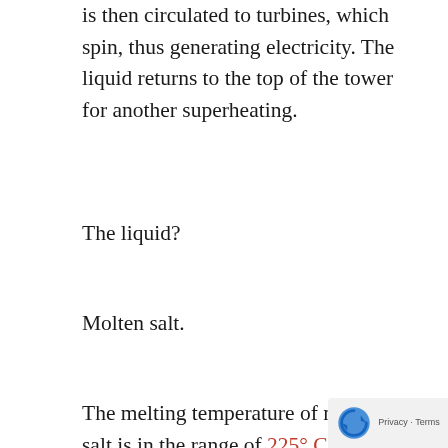is then circulated to turbines, which spin, thus generating electricity. The liquid returns to the top of the tower for another superheating.
The liquid?
Molten salt.
The melting temperature of molten salt is in the range of 225° C or perhaps 260° C. Of course my accounting brain doesn't think Celsius, so I translated those numbers, coming up with something in the range of 437° F or 500° F. Let's just call that 400°.
My accounting brain can tell that is really h